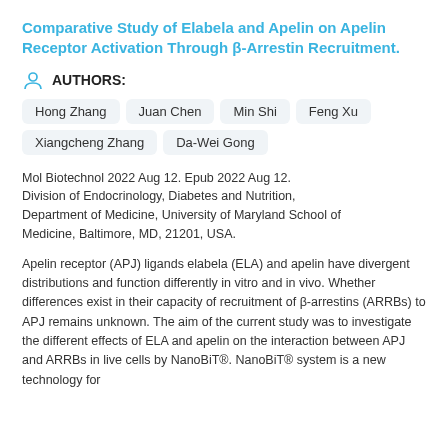Comparative Study of Elabela and Apelin on Apelin Receptor Activation Through β-Arrestin Recruitment.
AUTHORS:
Hong Zhang
Juan Chen
Min Shi
Feng Xu
Xiangcheng Zhang
Da-Wei Gong
Mol Biotechnol 2022 Aug 12. Epub 2022 Aug 12. Division of Endocrinology, Diabetes and Nutrition, Department of Medicine, University of Maryland School of Medicine, Baltimore, MD, 21201, USA.
Apelin receptor (APJ) ligands elabela (ELA) and apelin have divergent distributions and function differently in vitro and in vivo. Whether differences exist in their capacity of recruitment of β-arrestins (ARRBs) to APJ remains unknown. The aim of the current study was to investigate the different effects of ELA and apelin on the interaction between APJ and ARRBs in live cells by NanoBiT®. NanoBiT® system is a new technology for